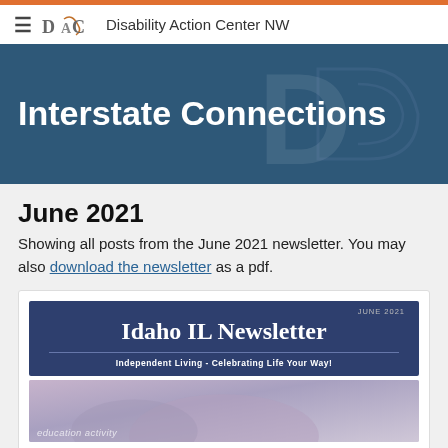Disability Action Center NW
Interstate Connections
June 2021
Showing all posts from the June 2021 newsletter. You may also download the newsletter as a pdf.
[Figure (screenshot): Idaho IL Newsletter banner - June 2021 issue. Dark blue background with title 'Idaho IL Newsletter' in large white serif font. Subtitle: 'Independent Living - Celebrating Life Your Way!' Below is a photo showing hands with text overlay 'education activity'.]